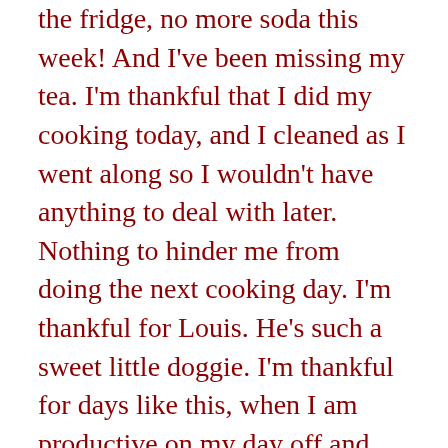the fridge, no more soda this week! And I've been missing my tea. I'm thankful that I did my cooking today, and I cleaned as I went along so I wouldn't have anything to deal with later. Nothing to hinder me from doing the next cooking day. I'm thankful for Louis. He's such a sweet little doggie. I'm thankful for days like this, when I am productive on my day off and feel tired and accomplished at the end of it. And I still spent time watching Kid Snippets on YouTube. 🙂
Saturday, 1/25: Today I was grumpy about going to work. However, I was thankful to have gotten a lot of blog and podcast work done before I had to work. And I was thankful to get home tonight! It ain't much, but it's something.
Monday, 1/27: The weather was gorgeous today, well, for